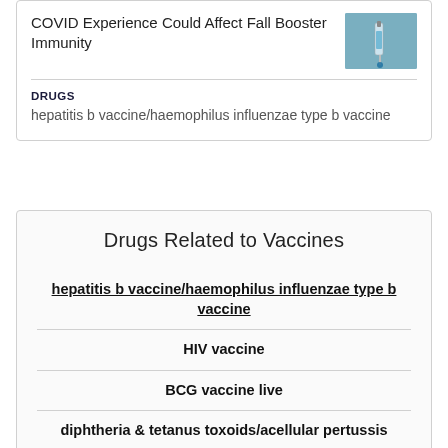COVID Experience Could Affect Fall Booster Immunity
[Figure (photo): Close-up photo of a syringe/vaccine needle against blue background]
DRUGS
hepatitis b vaccine/haemophilus influenzae type b vaccine
Drugs Related to Vaccines
hepatitis b vaccine/haemophilus influenzae type b vaccine
HIV vaccine
BCG vaccine live
diphtheria & tetanus toxoids/acellular pertussis